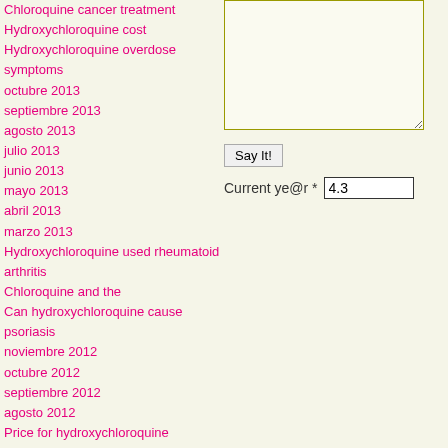Chloroquine cancer treatment
Hydroxychloroquine cost
Hydroxychloroquine overdose symptoms
octubre 2013
septiembre 2013
agosto 2013
julio 2013
junio 2013
mayo 2013
abril 2013
marzo 2013
Hydroxychloroquine used rheumatoid arthritis
Chloroquine and the
Can hydroxychloroquine cause psoriasis
noviembre 2012
octubre 2012
septiembre 2012
agosto 2012
Price for hydroxychloroquine
Hydroxychloroquine sulfate tablets side effects
Chloroquine invivogen
abril 2012
Hydroxychloroquine lupus
febrero 2012
Say It!
Current ye@r * 4.3